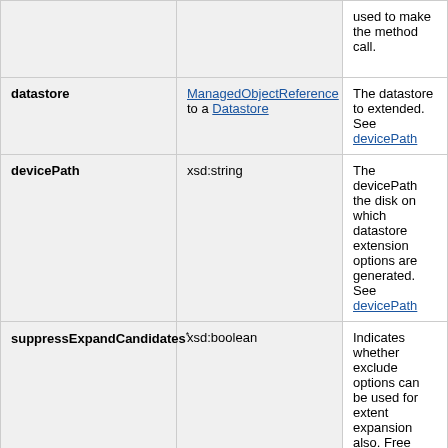| Name | Type | Description |
| --- | --- | --- |
|  |  | used to make the method call. |
| datastore | ManagedObjectReference to a Datastore | The datastore to extended.
See devicePath |
| devicePath | xsd:string | The devicePath the disk on which datastore extension options are generated.
See devicePath |
| suppressExpandCandidates* | xsd:boolean | Indicates whether exclude options can be used for extent expansion also. Free space be used for adding extent or expanding an existing extent this parameter is to true, the list of options returned not include free space that can be used for expansion.
See devicePath

Since vSphere |